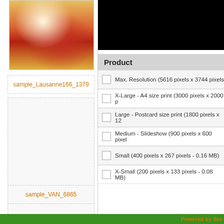[Figure (photo): Thumbnail photo of a person in traditional/cultural costume with colorful background]
sample_Lausanne166_1379
[Figure (photo): Empty thumbnail placeholder box]
sample_VAN_6865
Product
Max. Resolution (5616 pixels x 3744 pixels
X-Large - A4 size print (3000 pixels x 2000 p
Large - Postcard size print (1800 pixels x 12
Medium - Slideshow (900 pixels x 600 pixel
Small (400 pixels x 267 pixels - 0.16 MB)
X-Small (200 pixels x 133 pixels - 0.08 MB)
Powered by Sto